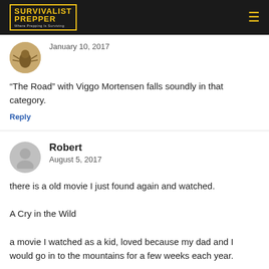SURVIVALIST PREPPER - Where Prepping Is Surviving
January 10, 2017
“The Road” with Viggo Mortensen falls soundly in that category.
Reply
Robert
August 5, 2017
there is a old movie I just found again and watched.
A Cry in the Wild
a movie I watched as a kid, loved because my dad and I would go in to the mountains for a few weeks each year.